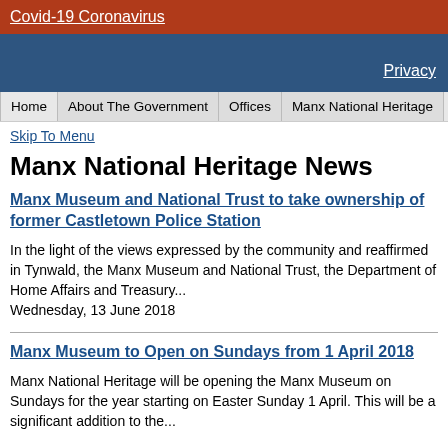Covid-19 Coronavirus
Privacy
Home | About The Government | Offices | Manx National Heritage
Skip To Menu
Manx National Heritage News
Manx Museum and National Trust to take ownership of former Castletown Police Station
In the light of the views expressed by the community and reaffirmed in Tynwald, the Manx Museum and National Trust, the Department of Home Affairs and Treasury...
Wednesday, 13 June 2018
Manx Museum to Open on Sundays from 1 April 2018
Manx National Heritage will be opening the Manx Museum on Sundays for the year starting on Easter Sunday 1 April.  This will be a significant addition to the...